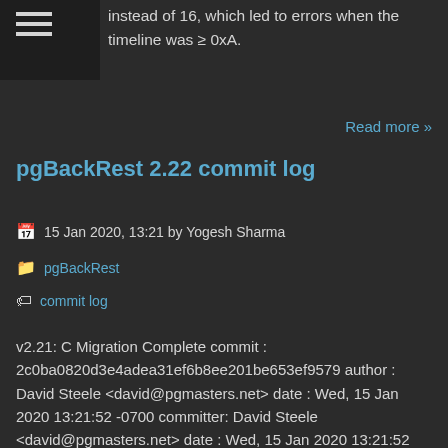instead of 16, which led to errors when the timeline was ≥ 0xA.
Read more »
pgBackRest 2.22 commit log
15 Jan 2020, 13:21 by Yogesh Sharma
pgBackRest
commit log
v2.21: C Migration Complete commit : 2c0ba0820d3e4adea31ef6b8ee201be653ef9579 author : David Steele <david@pgmasters.net> date : Wed, 15 Jan 2020 13:21:52 -0700 committer: David Steele <david@pgmasters.net> date : Wed, 15 Jan 2020 13:21:52 -0700 Click here for diff Bug Fixes: * Fix options being ignored by asynchronous commands. The asynchronous archive-get/archive-